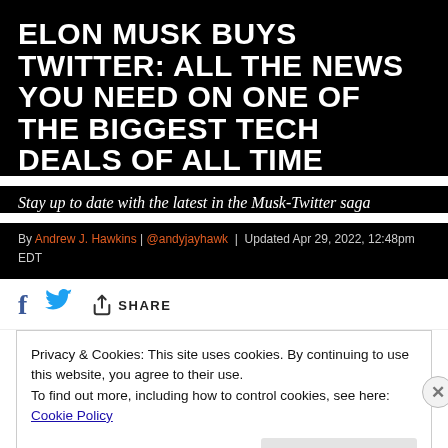ELON MUSK BUYS TWITTER: ALL THE NEWS YOU NEED ON ONE OF THE BIGGEST TECH DEALS OF ALL TIME
Stay up to date with the latest in the Musk-Twitter saga
By Andrew J. Hawkins | @andyjayhawk | Updated Apr 29, 2022, 12:48pm EDT
[Figure (infographic): Social share bar with Facebook, Twitter, and generic share icons]
Privacy & Cookies: This site uses cookies. By continuing to use this website, you agree to their use.
To find out more, including how to control cookies, see here: Cookie Policy
Close and accept